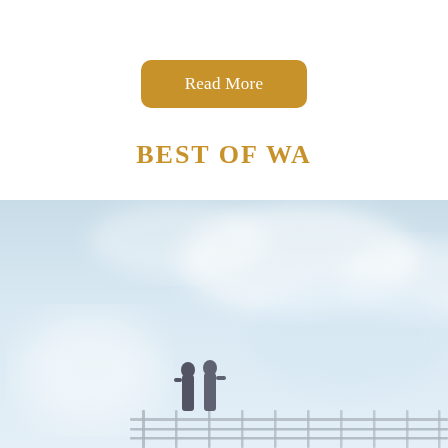Read More
BEST OF WA
[Figure (photo): Two people silhouetted against a pale blue sky, standing on what appears to be a rooftop or elevated platform with a metal railing/fence, viewed from below.]